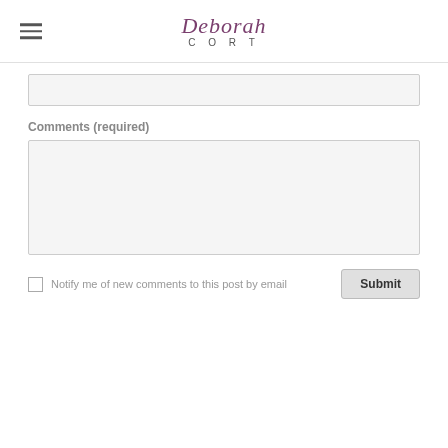Deborah CORT
(input field)
Comments (required)
(textarea)
Notify me of new comments to this post by email
Submit